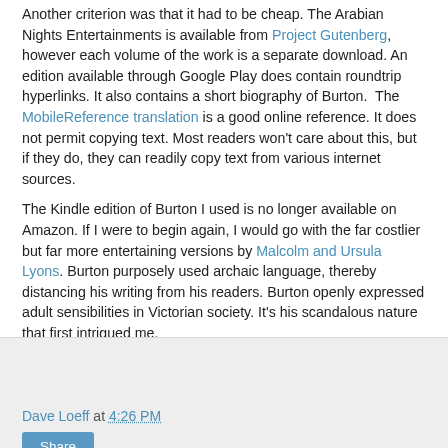Another criterion was that it had to be cheap. The Arabian Nights Entertainments is available from Project Gutenberg, however each volume of the work is a separate download. An edition available through Google Play does contain roundtrip hyperlinks. It also contains a short biography of Burton. The MobileReference translation is a good online reference. It does not permit copying text. Most readers won't care about this, but if they do, they can readily copy text from various internet sources.
The Kindle edition of Burton I used is no longer available on Amazon. If I were to begin again, I would go with the far costlier but far more entertaining versions by Malcolm and Ursula Lyons. Burton purposely used archaic language, thereby distancing his writing from his readers. Burton openly expressed adult sensibilities in Victorian society. It's his scandalous nature that first intrigued me.
Dave Loeff at 4:26 PM | Share